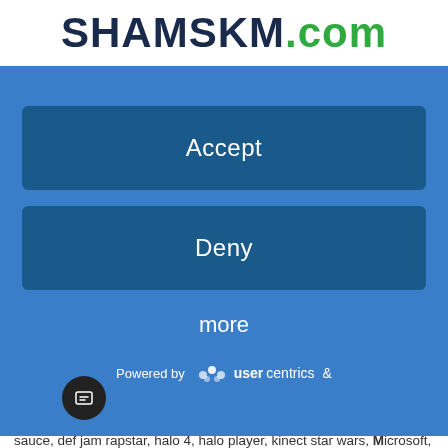SHAMSKM.com
[Figure (screenshot): Cookie consent overlay dialog with Accept button, Deny button, more link, and Powered by usercentrics branding on a blue background]
alex crushed, alex hebert ruiz, barbie, chris charia, christmas, cr...t sauce, def jam rapstar, halo 4, halo player, kinect star wars, Microsoft, microsoft game studios, microsoft studios, nintendo, play